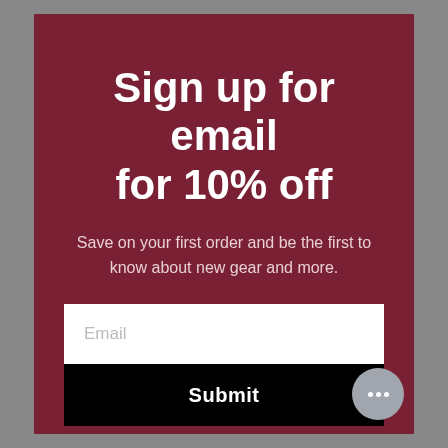Sign up for email for 10% off
Save on your first order and be the first to know about new gear and more.
[Figure (screenshot): Email input field with placeholder text 'Email']
[Figure (screenshot): Black submit button with white bold text 'Submit']